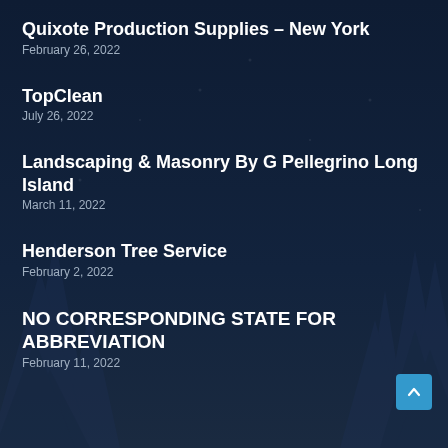Quixote Production Supplies – New York
February 26, 2022
TopClean
July 26, 2022
Landscaping & Masonry By G Pellegrino Long Island
March 11, 2022
Henderson Tree Service
February 2, 2022
NO CORRESPONDING STATE FOR ABBREVIATION
February 11, 2022